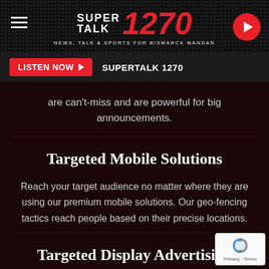SuperTalk 1270 — News, Talk & Sports for Bismarck Mandan
LISTEN NOW  SUPERTALK 1270
are can't-miss and are powerful for big announcements.
Targeted Mobile Solutions
Reach your target audience no matter where they are using our premium mobile solutions. Our geo-fencing tactics reach people based on their precise locations.
Targeted Display Advertising
Connect advertisers to targeted audiences at scale using proprietary 1st and 3rd party data and advanced optimization technologies.